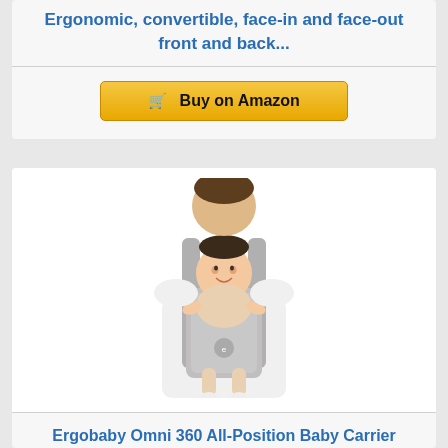Ergonomic, convertible, face-in and face-out front and back...
Buy on Amazon
[Figure (photo): Person wearing a grey Ergobaby Omni 360 baby carrier with a smiling baby facing outward]
Ergobaby Omni 360 All-Position Baby Carrier for Newborn to Toddler with Lumbar Support (7-45...
Buy on Amazon